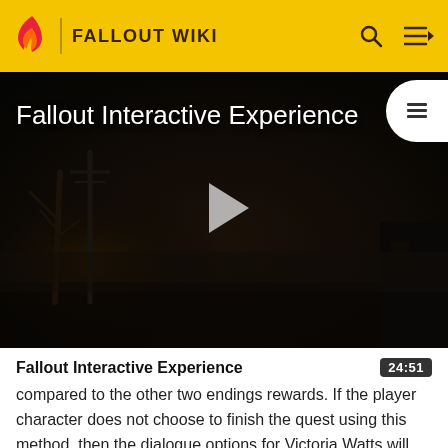FALLOUT WIKI
[Figure (screenshot): Video thumbnail showing a dark post-apocalyptic scene with dead trees and dim lighting, titled 'Fallout Interactive Experience' with a play button in the center and a table-of-contents button in the upper right corner.]
Fallout Interactive Experience
compared to the other two endings rewards. If the player character does not choose to finish the quest using this method, then the dialogue options for Victoria Watts will stay the same as when she first meets them, even after